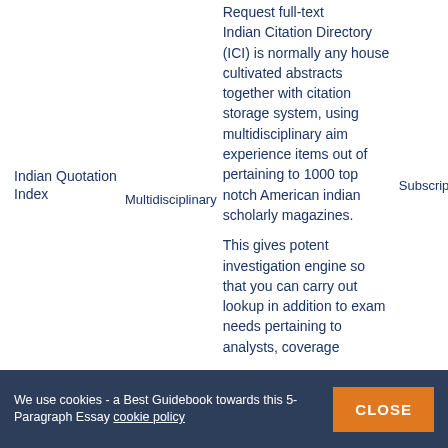Request full-text Indian Citation Directory (ICI) is normally any house cultivated abstracts together with citation storage system, using multidisciplinary aim experience items out of pertaining to 1000 top notch American indian scholarly magazines. This gives potent investigation engine so that you can carry out lookup in addition to exam needs pertaining to analysts, coverage
Indian Quotation Index
Multidisciplinary
Subscripti
We use cookies - a Best Guidebook towards this 5-Paragraph Essay cookie policy CLOSE